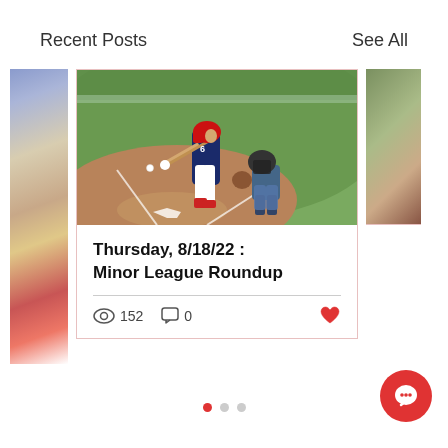Recent Posts
See All
[Figure (photo): Baseball player in navy jersey #6 swinging a bat, with catcher crouching behind, on a baseball field with green grass in the background.]
Thursday, 8/18/22 : Minor League Roundup
152
0